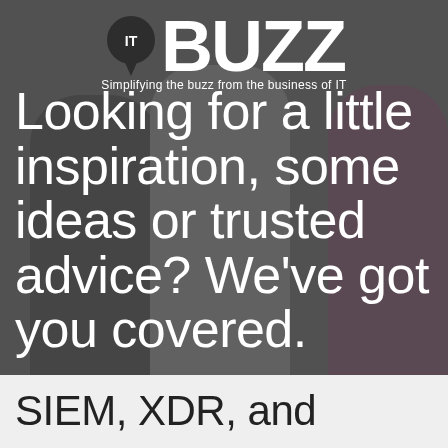[Figure (illustration): Hero image with dark overlay showing silhouettes of people, with IT Buzz logo at top and large white text overlay reading 'Looking for a little inspiration, some ideas or trusted advice? We've got you covered.']
SIEM, XDR, and